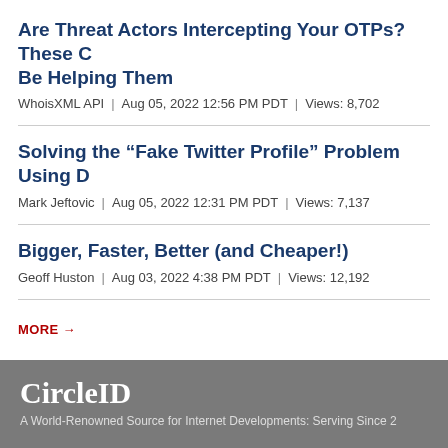Are Threat Actors Intercepting Your OTPs? These Could Be Helping Them
WhoisXML API | Aug 05, 2022 12:56 PM PDT | Views: 8,702
Solving the “Fake Twitter Profile” Problem Using D
Mark Jeftovic | Aug 05, 2022 12:31 PM PDT | Views: 7,137
Bigger, Faster, Better (and Cheaper!)
Geoff Huston | Aug 03, 2022 4:38 PM PDT | Views: 12,192
MORE →
CircleID
A World-Renowned Source for Internet Developments: Serving Since 2